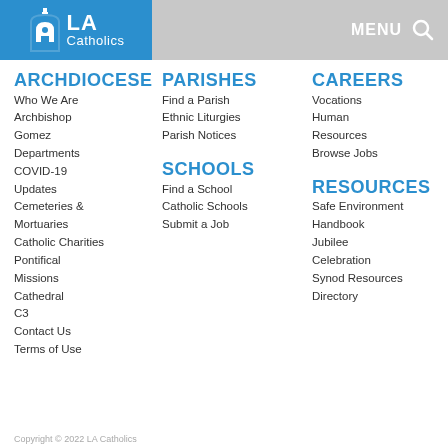LA Catholics — MENU
ARCHDIOCESE
Who We Are
Archbishop Gomez
Departments
COVID-19 Updates
Cemeteries & Mortuaries
Catholic Charities
Pontifical Missions
Cathedral
C3
Contact Us
Terms of Use
PARISHES
Find a Parish
Ethnic Liturgies
Parish Notices
SCHOOLS
Find a School
Catholic Schools
Submit a Job
CAREERS
Vocations
Human Resources
Browse Jobs
RESOURCES
Safe Environment Handbook
Jubilee Celebration
Synod Resources
Directory
Copyright © 2022 LA Catholics